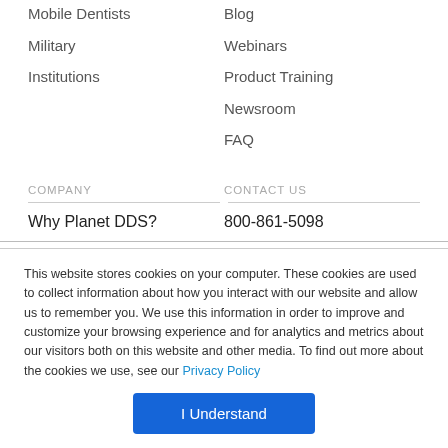Mobile Dentists
Blog
Military
Webinars
Institutions
Product Training
Newsroom
FAQ
COMPANY
CONTACT US
Why Planet DDS?
800-861-5098
This website stores cookies on your computer. These cookies are used to collect information about how you interact with our website and allow us to remember you. We use this information in order to improve and customize your browsing experience and for analytics and metrics about our visitors both on this website and other media. To find out more about the cookies we use, see our Privacy Policy
I Understand